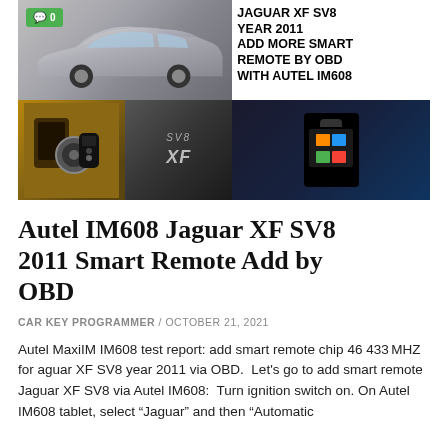[Figure (photo): Composite hero image showing a silver Jaguar XF SV8 car, interior and key fob details, SV8 badge, XF badge, and an Autel IM608 diagnostic device in a case with a comment badge showing 0. Text overlay reads: JAGUAR XF SV8 YEAR 2011 ADD MORE SMART REMOTE by OBD with AUTEL IM608]
Autel IM608 Jaguar XF SV8 2011 Smart Remote Add by OBD
CAR KEY PROGRAMMER / OCTOBER 21, 2021
Autel MaxiIM IM608 test report: add smart remote chip 46 433MHZ for aguar XF SV8 year 2011 via OBD.  Let’s go to add smart remote Jaguar XF SV8 via Autel IM608:  Turn ignition switch on. On Autel IM608 tablet, select “Jaguar” and then “Automatic